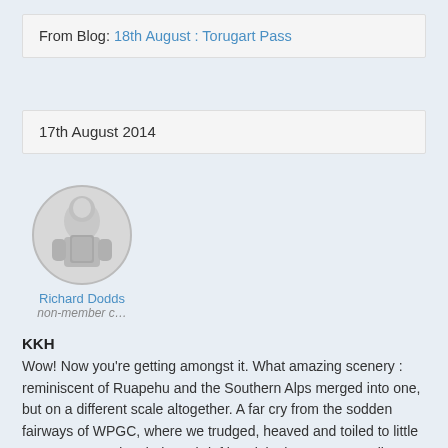From Blog: 18th August : Torugart Pass
17th August 2014
[Figure (photo): Circular avatar image of a grey/white figurine (Lego-style person) on a light grey background]
Richard Dodds
non-member c…
KKH
Wow! Now you're getting amongst it. What amazing scenery : reminiscent of Ruapehu and the Southern Alps merged into one, but on a different scale altogether. A far cry from the sodden fairways of WPGC, where we trudged, heaved and toiled to little purpose yesterday during a brief break in the monsoon. All Blacks and Wallabies drew 12-all last night in Sydney in an old-